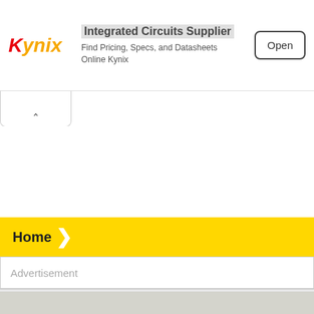[Figure (other): Kynix Integrated Circuits Supplier advertisement banner with logo, title, subtitle and Open button]
Advertisement
Home
Advertisement